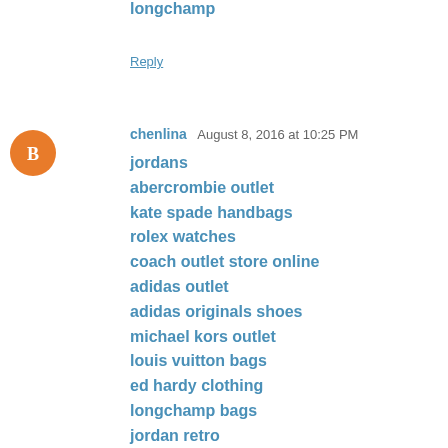longchamp
Reply
chenlina  August 8, 2016 at 10:25 PM
jordans
abercrombie outlet
kate spade handbags
rolex watches
coach outlet store online
adidas outlet
adidas originals shoes
michael kors outlet
louis vuitton bags
ed hardy clothing
longchamp bags
jordan retro
toms outlet
mont blanc pens
michael kors outlet
louis vuitton outlet